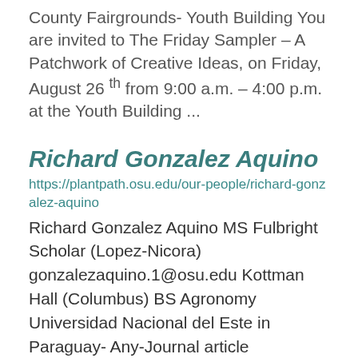County Fairgrounds- Youth Building You are invited to The Friday Sampler – A Patchwork of Creative Ideas, on Friday, August 26 th from 9:00 a.m. – 4:00 p.m. at the Youth Building ...
Richard Gonzalez Aquino
https://plantpath.osu.edu/our-people/richard-gonzalez-aquino
Richard Gonzalez Aquino MS Fulbright Scholar (Lopez-Nicora) gonzalezaquino.1@osu.edu Kottman Hall (Columbus) BS Agronomy Universidad Nacional del Este in Paraguay- Any-Journal article Book/book chapter Report